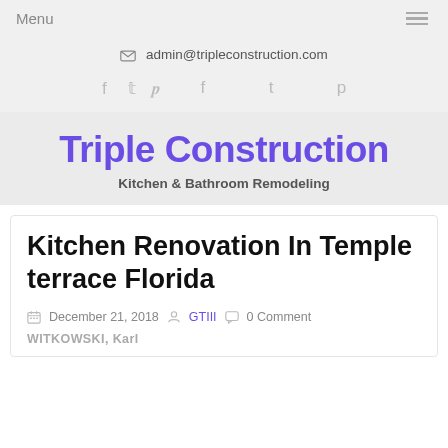Menu
admin@tripleconstruction.com
[Figure (other): Social media icons: Facebook, Twitter, Pinterest]
Triple Construction
Kitchen & Bathroom Remodeling
Kitchen Renovation In Temple terrace Florida
December 21, 2018  GTIII  0 Comment
WITKOWSKI, Karl